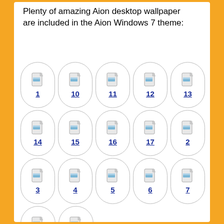Plenty of amazing Aion desktop wallpaper are included in the Aion Windows 7 theme:
[Figure (illustration): Grid of 17 oval-shaped icon links numbered 1-17, each showing a file/image icon above a blue underlined number link, arranged in 4 rows of 5 and 1 row of 2.]